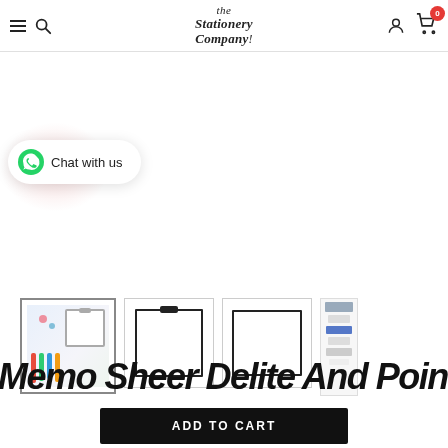The Stationery Company
[Figure (screenshot): WhatsApp chat widget with 'Chat with us' text and WhatsApp phone icon, with pink glow background]
[Figure (photo): Product thumbnail carousel showing: first thumbnail with stationery product photo (colored markers/pens and clipboard), second thumbnail showing clipboard outline, third thumbnail showing white square frame, fourth small thumbnail showing a product strip/list]
Memo Sheer Delite And Point P...